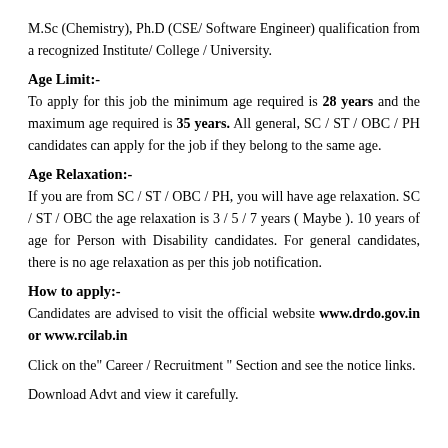M.Sc (Chemistry), Ph.D (CSE/ Software Engineer) qualification from a recognized Institute/ College / University.
Age Limit:-
To apply for this job the minimum age required is 28 years and the maximum age required is 35 years. All general, SC / ST / OBC / PH candidates can apply for the job if they belong to the same age.
Age Relaxation:-
If you are from SC / ST / OBC / PH, you will have age relaxation. SC / ST / OBC the age relaxation is 3 / 5 / 7 years ( Maybe ). 10 years of age for Person with Disability candidates. For general candidates, there is no age relaxation as per this job notification.
How to apply:-
Candidates are advised to visit the official website www.drdo.gov.in or www.rcilab.in
Click on the" Career / Recruitment " Section and see the notice links.
Download Advt and view it carefully.